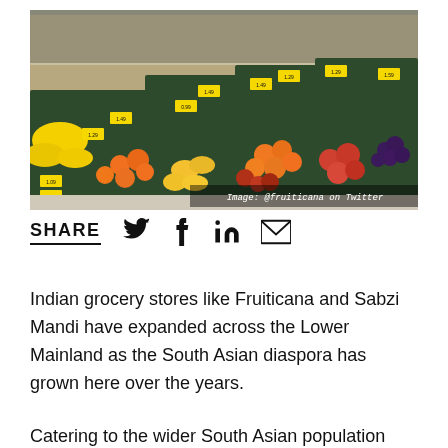[Figure (photo): Interior of an Indian grocery store showing colorful produce displays — bananas, oranges, apples, mangoes and other fruits arranged in green-slatted bins with yellow price tags. Text overlay reads 'Image: @fruiticana on Twitter'.]
SHARE
Indian grocery stores like Fruiticana and Sabzi Mandi have expanded across the Lower Mainland as the South Asian diaspora has grown here over the years.
Catering to the wider South Asian population